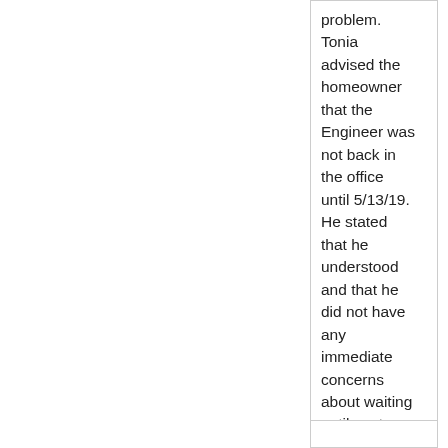problem. Tonia advised the homeowner that the Engineer was not back in the office until 5/13/19. He stated that he understood and that he did not have any immediate concerns about waiting until next week.